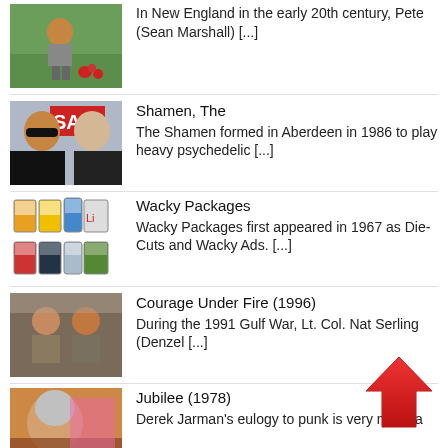In New England in the early 20th century, Pete (Sean Marshall) [...]
Shamen, The
The Shamen formed in Aberdeen in 1986 to play heavy psychedelic [...]
Wacky Packages
Wacky Packages first appeared in 1967 as Die-Cuts and Wacky Ads. [...]
Courage Under Fire (1996)
During the 1991 Gulf War, Lt. Col. Nat Serling (Denzel [...]
Jubilee (1978)
Derek Jarman's eulogy to punk is very much a